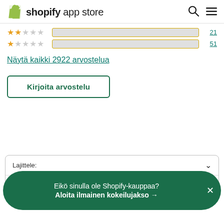shopify app store
[Figure (other): 2-star rating row with orange stars and progress bar, count 21]
[Figure (other): 1-star rating row with orange star and progress bar, count 51]
Näytä kaikki 2922 arvostelua
Kirjoita arvostelu
Lajittele:
Eikö sinulla ole Shopify-kauppaa?
Aloita ilmainen kokeilujakso →
Kaikki luokitukset